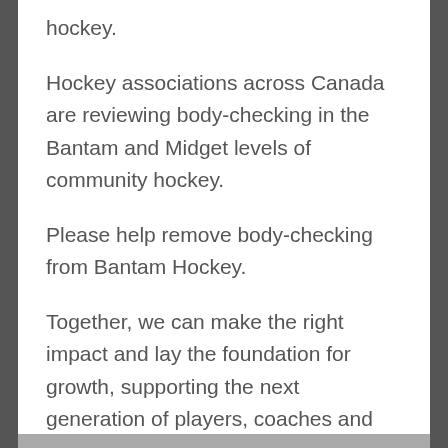hockey.
Hockey associations across Canada are reviewing body-checking in the Bantam and Midget levels of community hockey.
Please help remove body-checking from Bantam Hockey.
Together, we can make the right impact and lay the foundation for growth, supporting the next generation of players, coaches and parents.